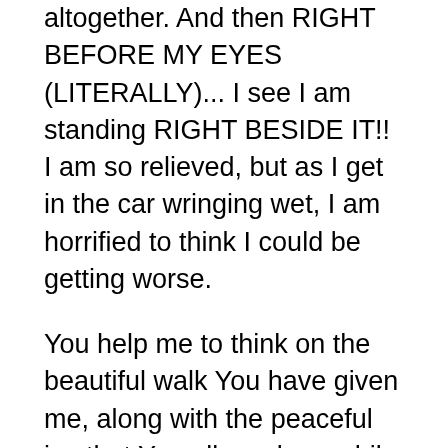altogether. And then RIGHT BEFORE MY EYES (LITERALLY)... I see I am standing RIGHT BESIDE IT!! I am so relieved, but as I get in the car wringing wet, I am horrified to think I could be getting worse.
You help me to think on the beautiful walk You have given me, along with the peaceful joy that You allowed me while walking on the beautiful journey with You this morning. It was a slow walk. It had to be with my health. But praise Your Holy name I can walk. You have allowed my doctors to help me do that much. You make me think on one of my favorite hymns of Yours...